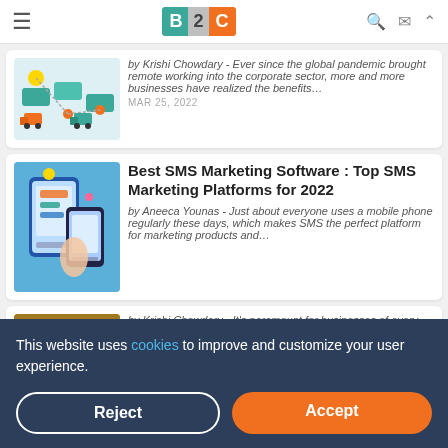B2C - website header with logo, hamburger menu and icons
by Krishi Chowdary - Ever since the global pandemic brought remote working into the corporate sector, more and more businesses have realized the benefits…
MAR 25, 2022
Best SMS Marketing Software : Top SMS Marketing Platforms for 2022
by Aneeca Younas - Just about everyone uses a mobile phone regularly these days, which makes SMS the perfect platform for marketing products and…
by Krishi Chowdary - It's paramount for businesses of every kind to create a positive...
This website uses cookies to improve and customize your user experience.